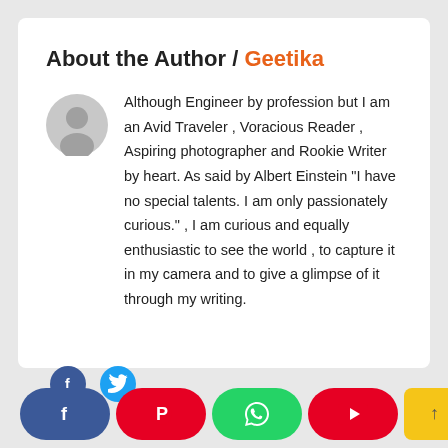About the Author / Geetika
[Figure (illustration): Gray circular avatar/profile placeholder icon]
Although Engineer by profession but I am an Avid Traveler , Voracious Reader , Aspiring photographer and Rookie Writer by heart. As said by Albert Einstein "I have no special talents. I am only passionately curious." , I am curious and equally enthusiastic to see the world , to capture it in my camera and to give a glimpse of it through my writing.
[Figure (infographic): Social sharing bar with Facebook, Pinterest, WhatsApp, YouTube buttons and mini Facebook and Twitter icons above]